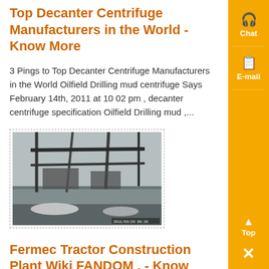Top Decanter Centrifuge Manufacturers in the World - Know More
3 Pings to Top Decanter Centrifuge Manufacturers in the World Oilfield Drilling mud centrifuge Says February 14th, 2011 at 10 02 pm , decanter centrifuge specification Oilfield Drilling mud ,...
[Figure (photo): Industrial facility photograph showing machinery and muddy water or slurry at a drilling/mining site, with structural supports visible above. Timestamp visible at bottom right.]
Fermec Tractor Construction Plant Wiki FANDOM , - Know More
Factories at Glasgow to and Coventry to Mecalec Dumptrucks and Backhoes site dumpers small plant Not the Quarry machinery lines made in Northern Ireland